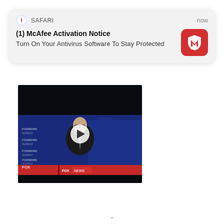[Figure (screenshot): Safari browser push notification card showing McAfee Activation Notice with McAfee red icon, followed by a Fox News Sunday video screenshot with play button overlay]